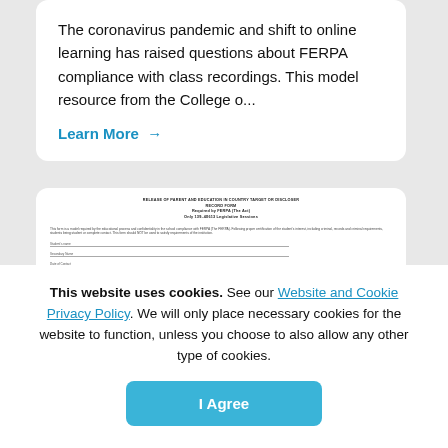The coronavirus pandemic and shift to online learning has raised questions about FERPA compliance with class recordings. This model resource from the College o...
Learn More →
[Figure (screenshot): A partial preview of a document about FERPA compliance, showing title lines, introductory body text, and form fields for student name, secondary name, and date of contact.]
This website uses cookies. See our Website and Cookie Privacy Policy. We will only place necessary cookies for the website to function, unless you choose to also allow any other type of cookies.
I Agree